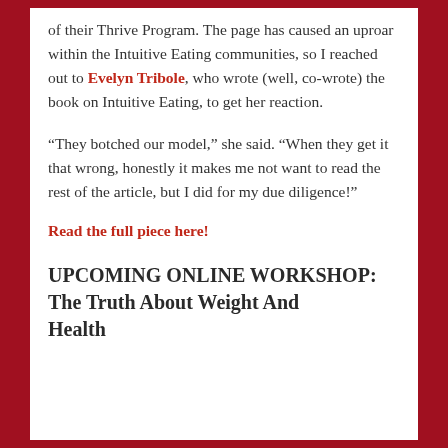of their Thrive Program. The page has caused an uproar within the Intuitive Eating communities, so I reached out to Evelyn Tribole, who wrote (well, co-wrote) the book on Intuitive Eating, to get her reaction.
“They botched our model,” she said. “When they get it that wrong, honestly it makes me not want to read the rest of the article, but I did for my due diligence!”
Read the full piece here!
UPCOMING ONLINE WORKSHOP: The Truth About Weight And Health